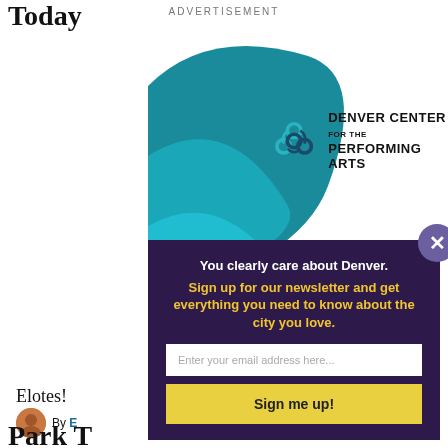ADVERTISEMENT
[Figure (logo): Denver Center for the Performing Arts logo with teal swirl graphic and text]
You clearly care about Denver. Sign up for our newsletter and get everything you need to know about the city you love.
Enter your email address here...
Sign me up!
Today
Elotes!
By E
Park T